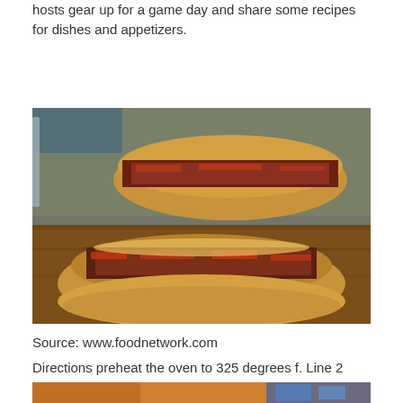hosts gear up for a game day and share some recipes for dishes and appetizers.
[Figure (photo): Close-up photo of meatball or meat sandwich on bread, cut open to reveal filling with tomato sauce, on a wooden cutting board]
Source: www.foodnetwork.com
Directions preheat the oven to 325 degrees f. Line 2 baking sheets with parchment paper.
[Figure (photo): Partial photo at bottom of page showing food items, partially cut off]